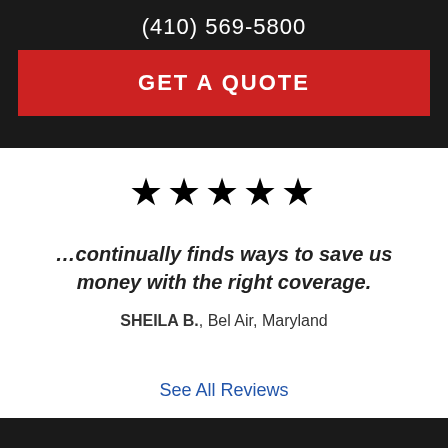(410) 569-5800
GET A QUOTE
[Figure (other): Five gold star rating icons]
…continually finds ways to save us money with the right coverage.
SHEILA B., Bel Air, Maryland
See All Reviews